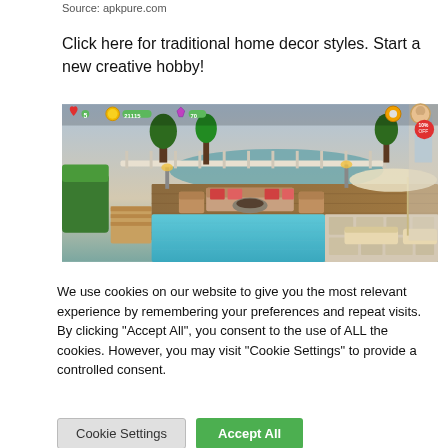Source: apkpure.com
Click here for traditional home decor styles. Start a new creative hobby!
[Figure (screenshot): Screenshot of a home design mobile game showing an outdoor pool area with lounge chairs, a seating area with sofa and fire pit, lush green hedges, and a sea view in the background. Game UI elements visible including hearts, coins, and gems counters at the top.]
We use cookies on our website to give you the most relevant experience by remembering your preferences and repeat visits. By clicking "Accept All", you consent to the use of ALL the cookies. However, you may visit "Cookie Settings" to provide a controlled consent.
Cookie Settings
Accept All